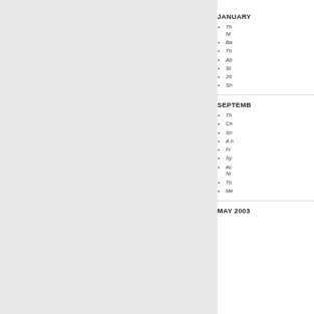JANUARY
Th... Ni...
Ba...
Th...
Ab...
St...
20...
Sh...
SEPTEMBER
Th...
Ch...
Sh...
A h...
Fr...
Sy...
Ac... Ni...
Th...
Me...
MAY 2003